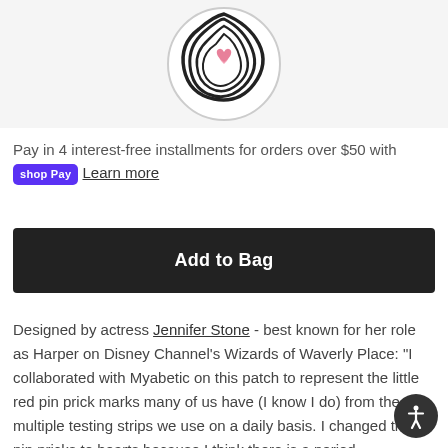[Figure (illustration): Product image showing a circular patch with black and white swirl design and a pink heart, on a light gray background]
Pay in 4 interest-free installments for orders over $50 with shop Pay Learn more
Add to Bag
Designed by actress Jennifer Stone - best known for her role as Harper on Disney Channel's Wizards of Waverly Place: “I collaborated with Myabetic on this patch to represent the little red pin prick marks many of us have (I know I do) from the multiple testing strips we use on a daily basis. I changed those pin pricks to hearts because I think there is a period